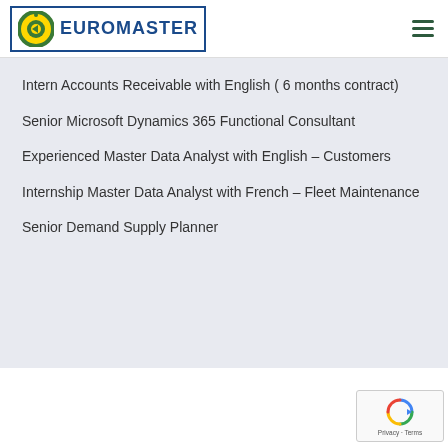EUROMASTER
Intern Accounts Receivable with English ( 6 months contract)
Senior Microsoft Dynamics 365 Functional Consultant
Experienced Master Data Analyst with English – Customers
Internship Master Data Analyst with French – Fleet Maintenance
Senior Demand Supply Planner